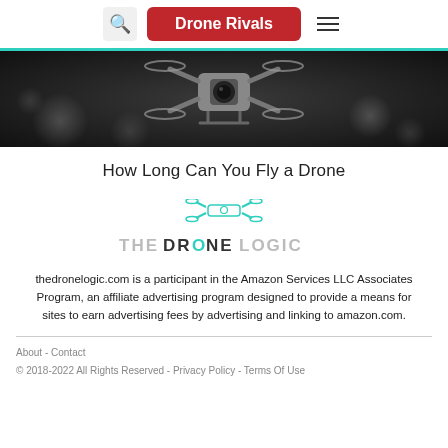Drone Rivals
[Figure (photo): Dark overhead photo of a drone/quadcopter with camera against a blurred bokeh background]
How Long Can You Fly a Drone
[Figure (logo): The Drone Logic logo with teal drone icon above stylized text]
thedronelogic.com is a participant in the Amazon Services LLC Associates Program, an affiliate advertising program designed to provide a means for sites to earn advertising fees by advertising and linking to amazon.com.
About - Contact
© 2018-2022 All Rights Reserved - Privacy Policy - Terms Of Use